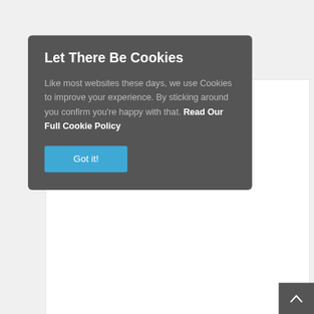[Figure (screenshot): Cookie consent overlay modal with dark gray background, title 'Let There Be Cookies', descriptive text about cookie usage, a link 'Read Our Full Cookie Policy', and a blue 'Got it!' button. Behind the modal, a partially visible form with a textarea. Below the modal, form fields for Name and Email with blue asterisks indicating required fields. A dark scroll-to-top button with a chevron in the bottom right corner.]